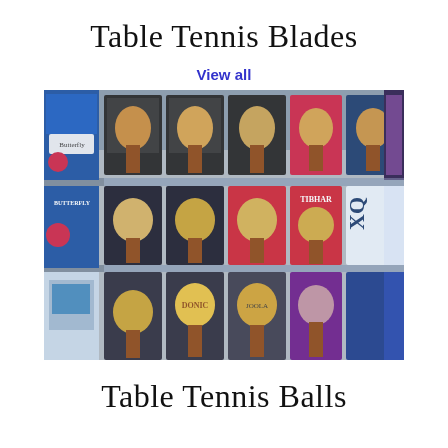Table Tennis Blades
View all
[Figure (photo): A retail store shelf display showing multiple table tennis blades in their packaging boxes, arranged in three rows. Various brands including Butterfly and Joola are visible with wooden paddle heads displayed in front of their boxes.]
Table Tennis Balls